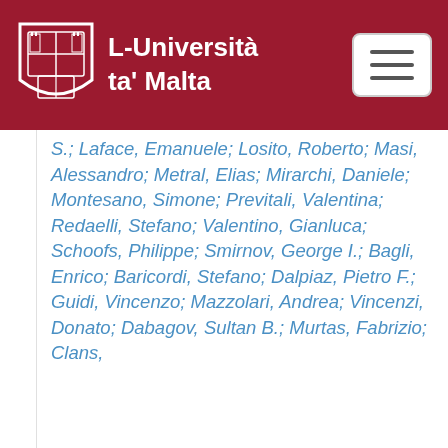L-Università ta' Malta
S.; Laface, Emanuele; Losito, Roberto; Masi, Alessandro; Metral, Elias; Mirarchi, Daniele; Montesano, Simone; Previtali, Valentina; Redaelli, Stefano; Valentino, Gianluca; Schoofs, Philippe; Smirnov, George I.; Bagli, Enrico; Baricordi, Stefano; Dalpiaz, Pietro F.; Guidi, Vincenzo; Mazzolari, Andrea; Vincenzi, Donato; Dabagov, Sultan B.; Murtas, Fabrizio; Clans,